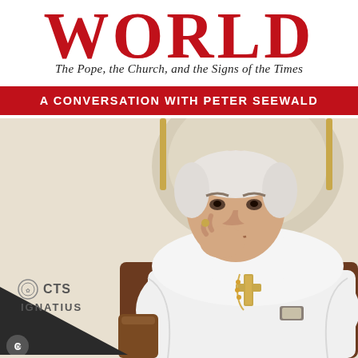WORLD
The Pope, the Church, and the Signs of the Times
A CONVERSATION WITH PETER SEEWALD
WITH A FOREWORD BY
GEORGE WEIGEL
[Figure (photo): Pope Benedict XVI seated in a white chair, wearing white papal vestments and a gold cross, hand raised near his chin in a thoughtful pose]
CTS
IGNATIUS